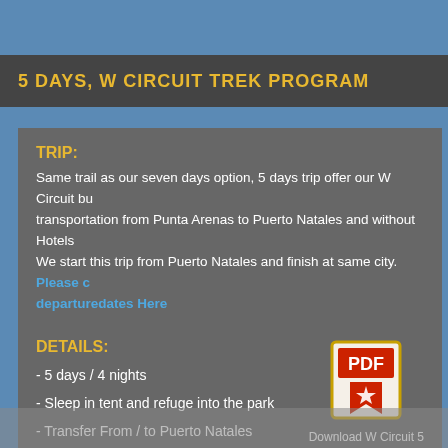5 DAYS, W CIRCUIT  TREK PROGRAM
TRIP:
Same trail as our seven days option, 5 days trip offer our W Circuit but without transportation from Punta Arenas to Puerto Natales and without Hotels in Punta Arenas. We start this trip from Puerto Natales and finish at same city. Please check our departuredates Here
DETAILS:
- 5 days / 4 nights
- Sleep in tent and refuge into the park
- Transfer From / to Puerto Natales
- Start and finish from/to Puerto Natales.
[Figure (illustration): PDF icon for downloading W Circuit 5 day program]
Download W Circuit 5
Book here